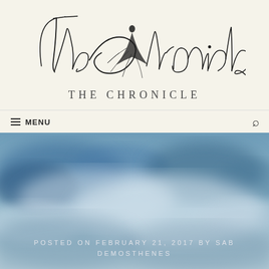[Figure (logo): The Chronicle calligraphic script logo with a figure in a flowing dress integrated into the lettering]
THE CHRONICLE
≡ MENU
[Figure (photo): Aerial or atmospheric blue cloudy sky photograph used as hero image]
POSTED ON FEBRUARY 21, 2017 BY SAB DEMOSTHENES